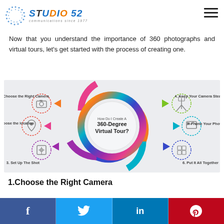[Figure (logo): Studio 52 logo with circular dot pattern and text 'STUDIO 52 communications since 1977']
Now that you understand the importance of 360 photographs and virtual tours, let's get started with the process of creating one.
[Figure (infographic): Circular infographic titled 'How Do I Create A 360-Degree Virtual Tour?' with 6 steps: 1. Choose the Right Camera, 2. Choose the location, 3. Set Up The Shot, 4. Keep Your Camera Steady, 5. Frame Your Photo, 6. Put It All Together]
1.Choose the Right Camera